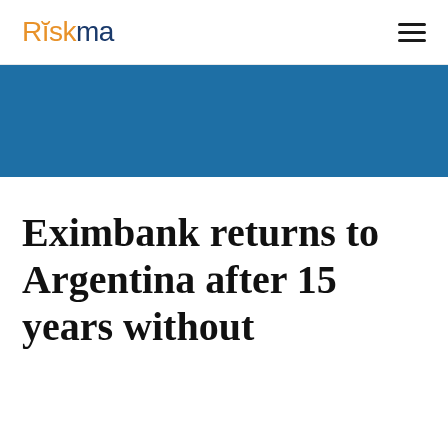Riskma
[Figure (other): Blue hero banner image area]
Eximbank returns to Argentina after 15 years without